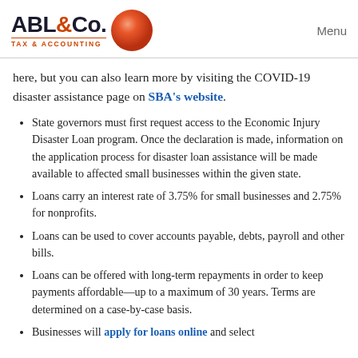ABL&Co. TAX & ACCOUNTING — Menu
here, but you can also learn more by visiting the COVID-19 disaster assistance page on SBA's website.
State governors must first request access to the Economic Injury Disaster Loan program. Once the declaration is made, information on the application process for disaster loan assistance will be made available to affected small businesses within the given state.
Loans carry an interest rate of 3.75% for small businesses and 2.75% for nonprofits.
Loans can be used to cover accounts payable, debts, payroll and other bills.
Loans can be offered with long-term repayments in order to keep payments affordable—up to a maximum of 30 years. Terms are determined on a case-by-case basis.
Businesses will apply for loans online and select ...